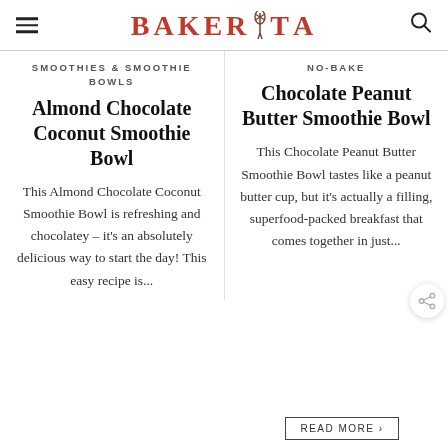BAKERITA
SMOOTHIES & SMOOTHIE BOWLS
Almond Chocolate Coconut Smoothie Bowl
This Almond Chocolate Coconut Smoothie Bowl is refreshing and chocolatey – it's an absolutely delicious way to start the day! This easy recipe is...
NO-BAKE
Chocolate Peanut Butter Smoothie Bowl
This Chocolate Peanut Butter Smoothie Bowl tastes like a peanut butter cup, but it's actually a filling, superfood-packed breakfast that comes together in just...
READ MORE >